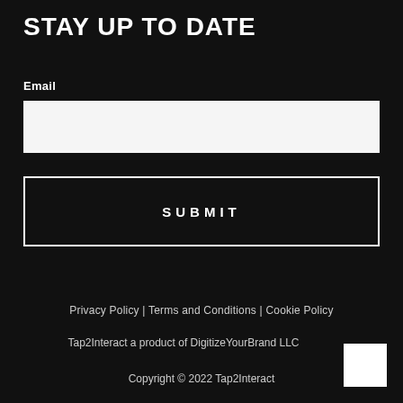STAY UP TO DATE
Email
SUBMIT
Privacy Policy | Terms and Conditions | Cookie Policy
Tap2Interact a product of DigitizeYourBrand LLC
Copyright © 2022 Tap2Interact